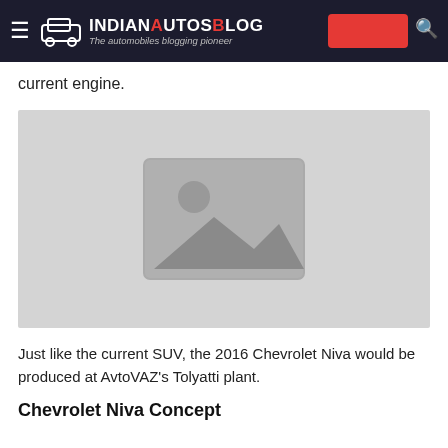IndianAutosBlog - The automobiles blogging pioneer
current engine.
[Figure (photo): Image placeholder with mountain/photo icon on light grey background]
Just like the current SUV, the 2016 Chevrolet Niva would be produced at AvtoVAZ's Tolyatti plant.
Chevrolet Niva Concept